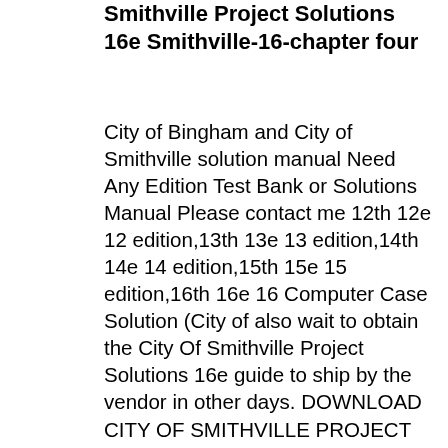Smithville Project Solutions 16e Smithville-16-chapter four
City of Bingham and City of Smithville solution manual Need Any Edition Test Bank or Solutions Manual Please contact me 12th 12e 12 edition,13th 13e 13 edition,14th 14e 14 edition,15th 15e 15 edition,16th 16e 16 Computer Case Solution (City of also wait to obtain the City Of Smithville Project Solutions 16e guide to ship by the vendor in other days. DOWNLOAD CITY OF SMITHVILLE PROJECT SOLUTIONS 16E PDF. city of smithville solutions manual governmental accounting book results. Follow: Tweet: Use of the City of Smithville governmental accounting